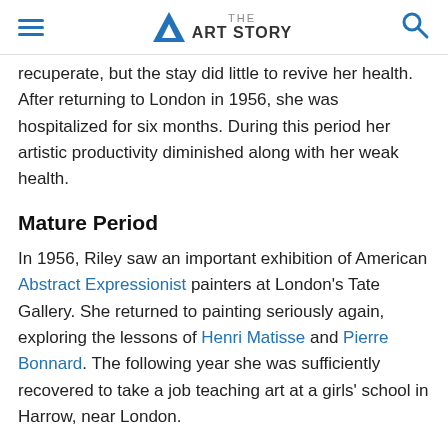THE ART STORY
recuperate, but the stay did little to revive her health. After returning to London in 1956, she was hospitalized for six months. During this period her artistic productivity diminished along with her weak health.
Mature Period
In 1956, Riley saw an important exhibition of American Abstract Expressionist painters at London's Tate Gallery. She returned to painting seriously again, exploring the lessons of Henri Matisse and Pierre Bonnard. The following year she was sufficiently recovered to take a job teaching art at a girls' school in Harrow, near London.
Two years later, in 1958, she left teaching to become a commercial illustrator. That year, visiting an exhibition on "The Developing Process," she became interested in the ideas of Harry Thurbon, a teacher at the Leeds School of Art. Thurbon was a proponent of a new form of arts